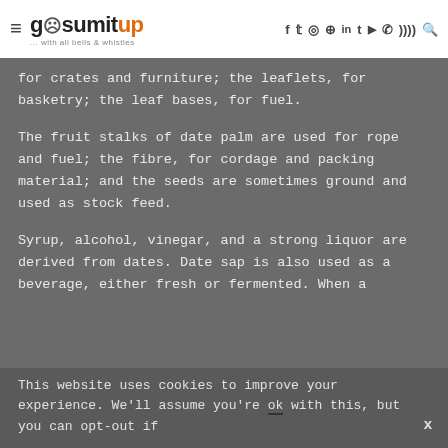gosumitup — with all bells & whistles — social icons: f, twitter, instagram, pinterest, in, tumblr, youtube, whatsapp, rss, search
for crates and furniture; the leaflets, for basketry; the leaf bases, for fuel.
The fruit stalks of date palm are used for rope and fuel; the fibre, for cordage and packing material; and the seeds are sometimes ground and used as stock feed.
Syrup, alcohol, vinegar, and a strong liquor are derived from dates. Date sap is also used as a beverage, either fresh or fermented. When a
This website uses cookies to improve your experience. We'll assume you're ok with this, but you can opt-out if